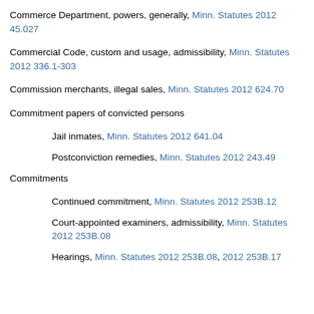Commerce Department, powers, generally, Minn. Statutes 2012 45.027
Commercial Code, custom and usage, admissibility, Minn. Statutes 2012 336.1-303
Commission merchants, illegal sales, Minn. Statutes 2012 624.70
Commitment papers of convicted persons
Jail inmates, Minn. Statutes 2012 641.04
Postconviction remedies, Minn. Statutes 2012 243.49
Commitments
Continued commitment, Minn. Statutes 2012 253B.12
Court-appointed examiners, admissibility, Minn. Statutes 2012 253B.08
Hearings, Minn. Statutes 2012 253B.08, 2012 253B.17